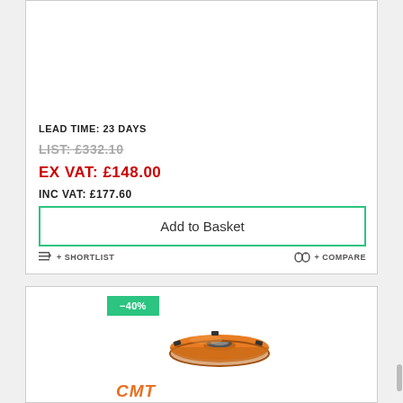LEAD TIME: 23 DAYS
LIST: £332.10
EX VAT: £148.00
INC VAT: £177.60
Add to Basket
+ SHORTLIST
+ COMPARE
[Figure (photo): Orange CMT router bit / cutter head, circular disc shape with carbide inserts, viewed from slight angle above]
-40%
CMT